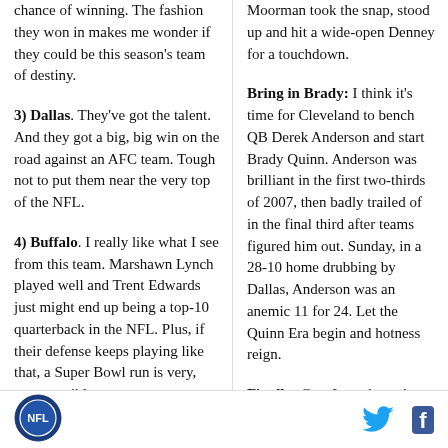chance of winning. The fashion they won in makes me wonder if they could be this season's team of destiny.
3) Dallas. They've got the talent. And they got a big, big win on the road against an AFC team. Tough not to put them near the very top of the NFL.
4) Buffalo. I really like what I see from this team. Marshawn Lynch played well and Trent Edwards just might end up being a top-10 quarterback in the NFL. Plus, if their defense keeps playing like that, a Super Bowl run is very, very possible.
Moorman took the snap, stood up and hit a wide-open Denney for a touchdown.
Bring in Brady: I think it's time for Cleveland to bench QB Derek Anderson and start Brady Quinn. Anderson was brilliant in the first two-thirds of 2007, then badly trailed of in the final third after teams figured him out. Sunday, in a 28-10 home drubbing by Dallas, Anderson was an anemic 11 for 24. Let the Quinn Era begin and hotness reign.
Finally: Gee, I got through a whole column without mentioning Brett Favre.
[Figure (logo): Circular blue logo/seal in the page footer, left side]
[Figure (other): Twitter bird icon (blue) and Facebook 'f' icon (dark blue) in the page footer, right side]